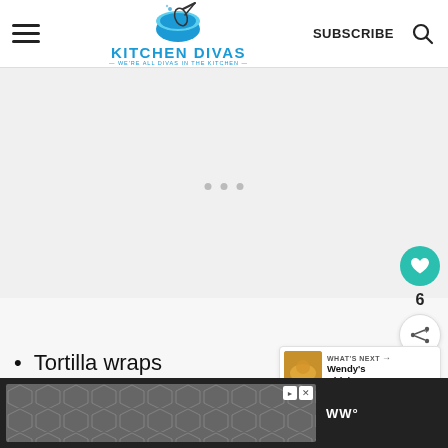Kitchen Divas — WE'RE ALL DIVAS IN THE KITCHEN — SUBSCRIBE
[Figure (screenshot): Advertisement placeholder area with loading dots in a light gray region]
[Figure (illustration): Teal heart/like button with count 6 and share button on right side]
[Figure (screenshot): What's Next panel showing Wendy's Chicken... with thumbnail]
Tortilla wraps
[Figure (screenshot): Dark footer bar with hexagon-patterned advertisement and WW logo]